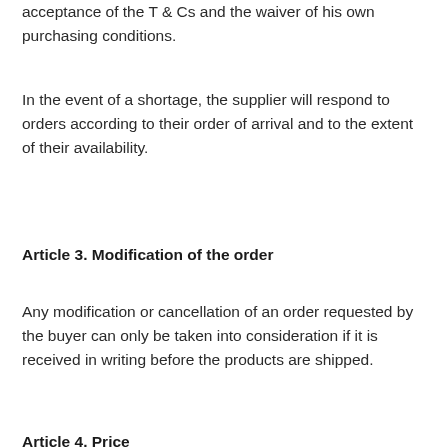acceptance of the T & Cs and the waiver of his own purchasing conditions.
In the event of a shortage, the supplier will respond to orders according to their order of arrival and to the extent of their availability.
Article 3. Modification of the order
Any modification or cancellation of an order requested by the buyer can only be taken into consideration if it is received in writing before the products are shipped.
Article 4. Price